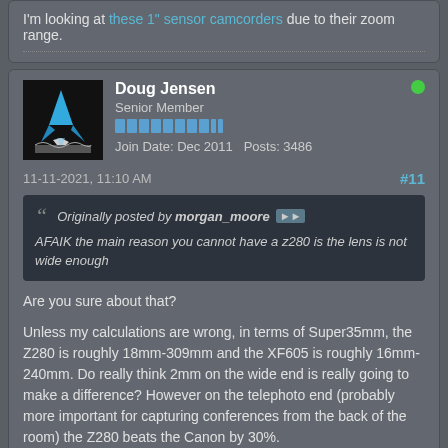I'm looking at these 1" sensor camcorders due to their zoom range.
Doug Jensen
Senior Member
Join Date: Dec 2011   Posts: 3486
11-11-2021, 11:10 AM
#11
Originally posted by morgan_moore
AFAIK the main reason you cannot have a z280 is the lens is not wide enough
Are you sure about that?
Unless my calculations are wrong, in terms of Super35mm, the Z280 is roughly 18mm-309mm and the XF605 is roughly 16mm-240mm. Do really think 2mm on the wide end is really going to make a difference? However on the telephoto end (probably more important for capturing conferences from the back of the room) the Z280 beats the Canon by 30%.
Also worth noting, the Z280 can hold f/2.8 throughout the entire range